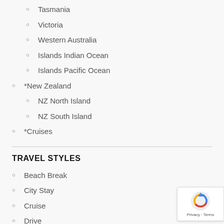Tasmania
Victoria
Western Australia
Islands Indian Ocean
Islands Pacific Ocean
*New Zealand
NZ North Island
NZ South Island
*Cruises
TRAVEL STYLES
Beach Break
City Stay
Cruise
Drive
Independent